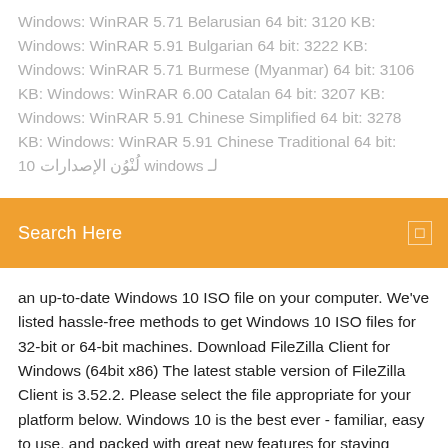Windows: WinRAR 5.71 Belarusian 64 bit: 3120 KB: Windows: WinRAR 5.91 Bulgarian 64 bit: 3222 KB: Windows: WinRAR 5.71 Burmese (Myanmar) 64 bit: 3106 KB: Windows: WinRAR 6.00 Catalan 64 bit: 3207 KB: Windows: WinRAR 5.91 Chinese Simplified 64 bit: 3278 KB: Windows: WinRAR 5.91 Chinese Traditional 64 bit: [... windows 10 ...]
Search Here
an up-to-date Windows 10 ISO file on your computer. We've listed hassle-free methods to get Windows 10 ISO files for 32-bit or 64-bit machines. Download FileZilla Client for Windows (64bit x86) The latest stable version of FileZilla Client is 3.52.2. Please select the file appropriate for your platform below. Windows 10 is the best ever - familiar, easy to use, and packed with great new features for staying organized, having fun and getting stuff done. It's the Windows you know and love, with a friendly assistant there to help at your own pace. Windows 10